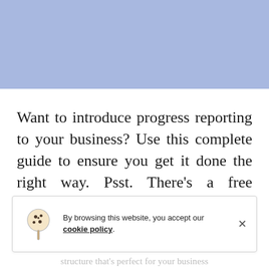[Figure (illustration): Light blue/periwinkle banner background at the top of the page]
Want to introduce progress reporting to your business? Use this complete guide to ensure you get it done the right way. Psst. There's a free template too.
By browsing this website, you accept our cookie policy.
structure that's perfect for your business